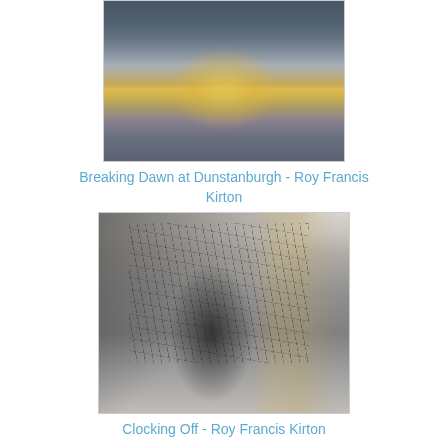[Figure (illustration): Painting of a seascape at dawn, with golden light reflecting on water and a dark coastline silhouette in the background. Title: Breaking Dawn at Dunstanburgh by Roy Francis Kirton.]
Breaking Dawn at Dunstanburgh - Roy Francis Kirton
£200
[Figure (illustration): Charcoal sketch/mixed media artwork of dock cranes and workers at a harbour. Title: Clocking Off by Roy Francis Kirton.]
Clocking Off - Roy Francis Kirton
£150